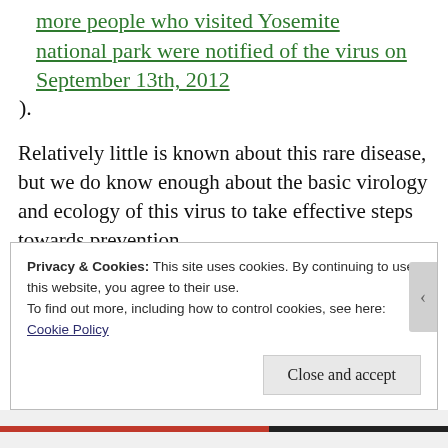more people who visited Yosemite national park were notified of the virus on September 13th, 2012).
Relatively little is known about this rare disease, but we do know enough about the basic virology and ecology of this virus to take effective steps towards prevention.
Read on to find out more about Sin Nombre virus and what we can do to protect ourselves from infection.
Privacy & Cookies: This site uses cookies. By continuing to use this website, you agree to their use.
To find out more, including how to control cookies, see here:
Cookie Policy
Close and accept